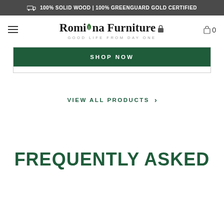100% SOLID WOOD | 100% GREENGUARD GOLD CERTIFIED
[Figure (logo): Romina Furniture logo with leaf icon and tagline GOOD LIFE FROM DAY ONE, plus hamburger menu and cart icon]
SHOP NOW
VIEW ALL PRODUCTS ›
FREQUENTLY ASKED